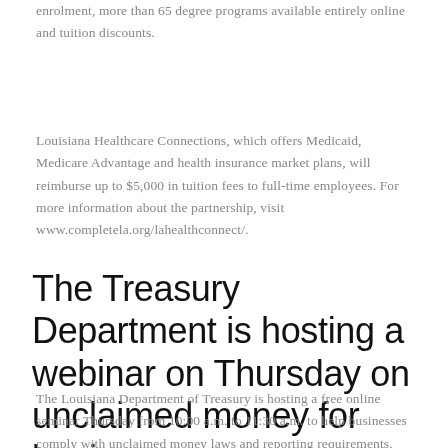enrolment, more than 65 degree programs available entirely online and tuition discounts.
Louisiana Healthcare Connections, which offers Medicaid, Medicare Advantage and health insurance market plans, will reimburse up to $5,000 in tuition fees to full-time employees. For more information about the partnership, visit www.completela.org/lahealthconnect/.
The Treasury Department is hosting a webinar on Thursday on unclaimed money for businesses
The Louisiana Department of Treasury is hosting a free online seminar Thursday from 10:00 a.m. to 11:30 a.m. to help businesses comply with unclaimed money laws and reporting requirements.